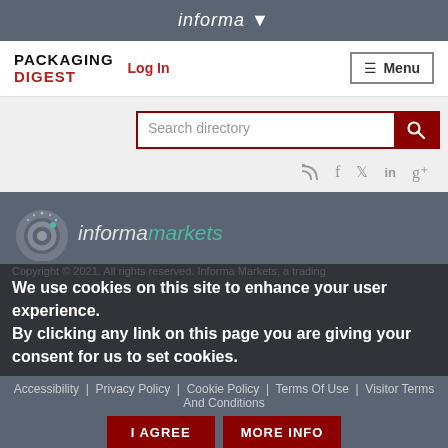informa ▾
[Figure (logo): Packaging Digest logo with red DIGEST text]
Log In
Menu
Search directory
RSS, Facebook, Twitter, LinkedIn, Google+ social icons
[Figure (logo): Informa Markets logo with circular icon, white 'informa' and teal 'markets' text]
We use cookies on this site to enhance your user experience. By clicking any link on this page you are giving your consent for us to set cookies.
Copyright © 2021. All rights reserved. Informa Markets, a trading
Accessibility  |  Privacy Policy  |  Cookie Policy  |  Terms Of Use  |  Visitor Terms And Conditions
I AGREE
MORE INFO